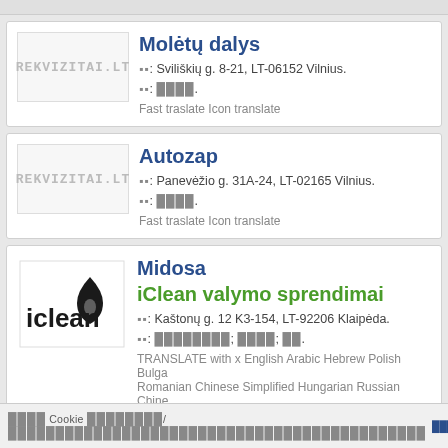[Figure (logo): Rekvizitai.lt logo placeholder (gray text on white box)]
Molėtų dalys
Adr: Sviliškių g. 8-21, LT-06152 Vilnius.
Tel: ████.
Fast traslate Icon translate
[Figure (logo): Rekvizitai.lt logo placeholder (gray text on white box)]
Autozap
Adr: Panevėžio g. 31A-24, LT-02165 Vilnius.
Tel: ████.
Fast traslate Icon translate
[Figure (logo): iClean logo - black text 'iclean' with droplet icon]
Midosa
iClean valymo sprendimai
Adr: Kaštonų g. 12 K3-154, LT-92206 Klaipėda.
Tel: ████████; ████; ██.
TRANSLATE with x English Arabic Hebrew Polish Bulgarian Romanian Chinese Simplified Hungarian Russian Chinese Slovenian Danish Japanese Spanish Dutch Klingon Swedish Turkish Finnish Lithuanian...
████ Cookie ████████/████████████████████████████████████████████ ████ ███